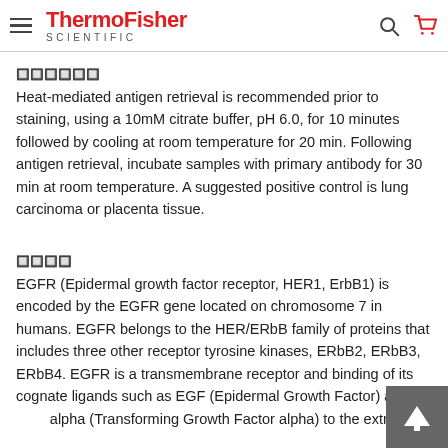ThermoFisher SCIENTIFIC
🔲🔲🔲🔲🔲🔲
Heat-mediated antigen retrieval is recommended prior to staining, using a 10mM citrate buffer, pH 6.0, for 10 minutes followed by cooling at room temperature for 20 min. Following antigen retrieval, incubate samples with primary antibody for 30 min at room temperature. A suggested positive control is lung carcinoma or placenta tissue.
🔲🔲🔲🔲
EGFR (Epidermal growth factor receptor, HER1, ErbB1) is encoded by the EGFR gene located on chromosome 7 in humans. EGFR belongs to the HER/ERbB family of proteins that includes three other receptor tyrosine kinases, ERbB2, ERbB3, ERbB4. EGFR is a transmembrane receptor and binding of its cognate ligands such as EGF (Epidermal Growth Factor) and alpha (Transforming Growth Factor alpha) to the extracellul…